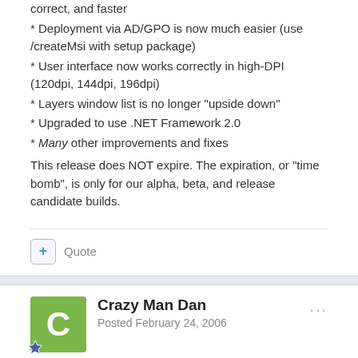correct, and faster
* Deployment via AD/GPO is now much easier (use /createMsi with setup package)
* User interface now works correctly in high-DPI (120dpi, 144dpi, 196dpi)
* Layers window list is no longer "upside down"
* Upgraded to use .NET Framework 2.0
* Many other improvements and fixes
This release does NOT expire. The expiration, or "time bomb", is only for our alpha, beta, and release candidate builds.
Quote
Crazy Man Dan
Posted February 24, 2006
Rawx! Now I can put a new version on my laptop...
I put one of the dev releases on there, and, since it's not hooked up to the internet, I don't get to update on a regular basis. My